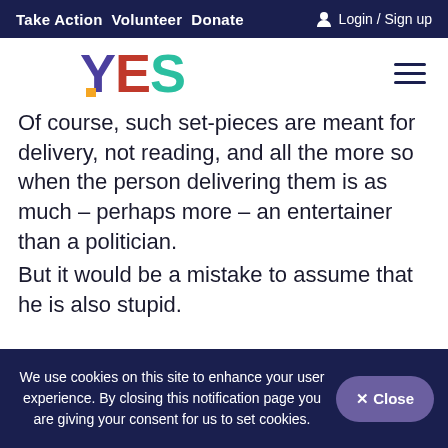Take Action  Volunteer  Donate  Login / Sign up
[Figure (logo): YES logo with Y in purple, E in red, S in teal, with orange accent on Y]
Of course, such set-pieces are meant for delivery, not reading, and all the more so when the person delivering them is as much – perhaps more – an entertainer than a politician. But it would be a mistake to assume that he is also stupid.
We use cookies on this site to enhance your user experience. By closing this notification page you are giving your consent for us to set cookies.